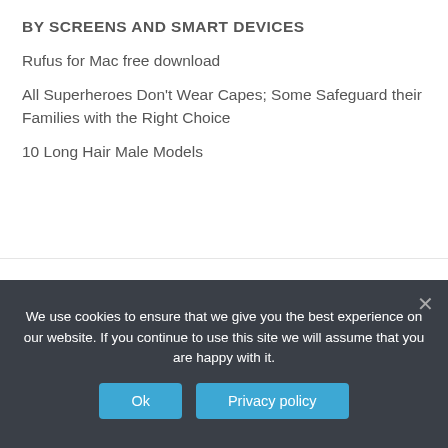BY SCREENS AND SMART DEVICES
Rufus for Mac free download
All Superheroes Don't Wear Capes; Some Safeguard their Families with the Right Choice
10 Long Hair Male Models
[Figure (illustration): Yellow and grey decorative shapes with large yellow quotation marks and italic bold text reading: Pro-Papers saved my time, grades, and nerve cells!]
We use cookies to ensure that we give you the best experience on our website. If you continue to use this site we will assume that you are happy with it.